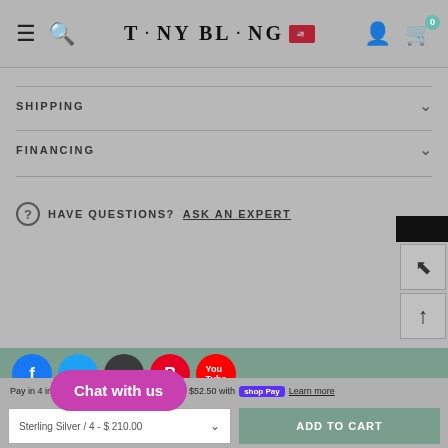TINY BLING — Navigation bar with hamburger, search, logo, user account, and cart (0)
SHIPPING
FINANCING
? HAVE QUESTIONS? ASK AN EXPERT
[Figure (screenshot): Social media icons row: Facebook, Twitter, Instagram, Pinterest, YouTube]
Pay in 4 interest-free installments of $52.50 with Shop Pay Learn more
Sterling Silver / 4 - $ 210.00 — ADD TO CART
Chat with us